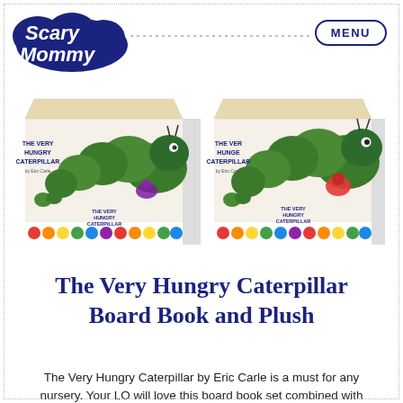Scary Mommy | MENU
[Figure (photo): Two boxes of The Very Hungry Caterpillar Board Book and Plush set by Eric Carle, shown side by side. Each box displays a caterpillar plush toy and colorful polka-dot border. Left box shown at an angle, right box shown more frontally.]
The Very Hungry Caterpillar Board Book and Plush
The Very Hungry Caterpillar by Eric Carle is a must for any nursery. Your LO will love this board book set combined with